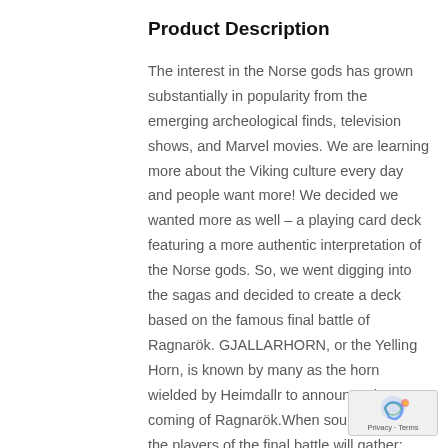Product Description
The interest in the Norse gods has grown substantially in popularity from the emerging archeological finds, television shows, and Marvel movies. We are learning more about the Viking culture every day and people want more! We decided we wanted more as well – a playing card deck featuring a more authentic interpretation of the Norse gods. So, we went digging into the sagas and decided to create a deck based on the famous final battle of Ragnarök. GJALLARHORN, or the Yelling Horn, is known by many as the horn wielded by Heimdallr to announce the coming of Ragnarök.When sounded, all of the players of the final battle will gather: Odin, Thor, Loki, Hel, Tyr, and many others. Once